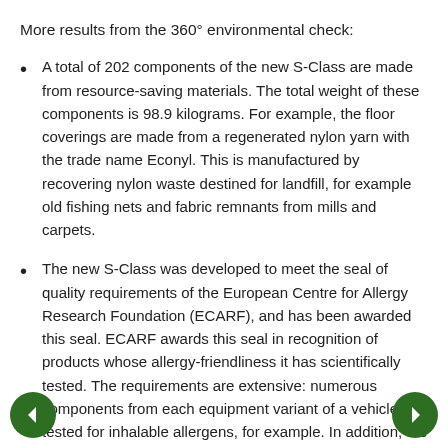More results from the 360° environmental check:
A total of 202 components of the new S-Class are made from resource-saving materials. The total weight of these components is 98.9 kilograms. For example, the floor coverings are made from a regenerated nylon yarn with the trade name Econyl. This is manufactured by recovering nylon waste destined for landfill, for example old fishing nets and fabric remnants from mills and carpets.
The new S-Class was developed to meet the seal of quality requirements of the European Centre for Allergy Research Foundation (ECARF), and has been awarded this seal. ECARF awards this seal in recognition of products whose allergy-friendliness it has scientifically tested. The requirements are extensive: numerous components from each equipment variant of a vehicle are tested for inhalable allergens, for example. In addition, the value filter is tested for mat function in...